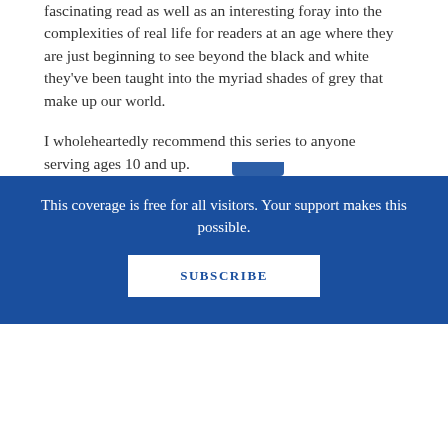fascinating read as well as an interesting foray into the complexities of real life for readers at an age where they are just beginning to see beyond the black and white they've been taught into the myriad shades of grey that make up our world.
I wholeheartedly recommend this series to anyone serving ages 10 and up.
Filed under: cassandra clare, Holly Black, Middle School Monday
SHARE: [Facebook] [Twitter] [Email]  Read or Leave Comments
This coverage is free for all visitors. Your support makes this possible.
SUBSCRIBE